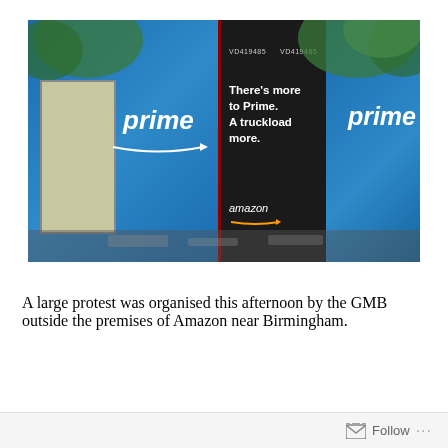[Figure (photo): Amazon Prime delivery trucks with advertising text 'There's more to Prime. A truckload more.' and Amazon logo on a dark center panel, flanked by blue trucks with 'prime' branding, trees in background.]
A large protest was organised this afternoon by the GMB outside the premises of Amazon near Birmingham.
Follow ...